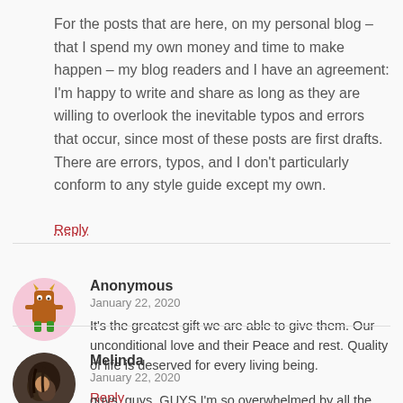For the posts that are here, on my personal blog – that I spend my own money and time to make happen – my blog readers and I have an agreement: I'm happy to write and share as long as they are willing to overlook the inevitable typos and errors that occur, since most of these posts are first drafts. There are errors, typos, and I don't particularly conform to any style guide except my own.
Reply
Anonymous
January 22, 2020
It's the greatest gift we are able to give them. Our unconditional love and their Peace and rest. Quality of life is deserved for every living being.
Reply
[Figure (illustration): Cartoon monster avatar with brown body, green legs, and small horns on a pink circular background]
Melinda
January 22, 2020
guys, guys, GUYS I'm so overwhelmed by all the views
[Figure (photo): Profile photo of Melinda, a person with dark hair, shown from the side/back]